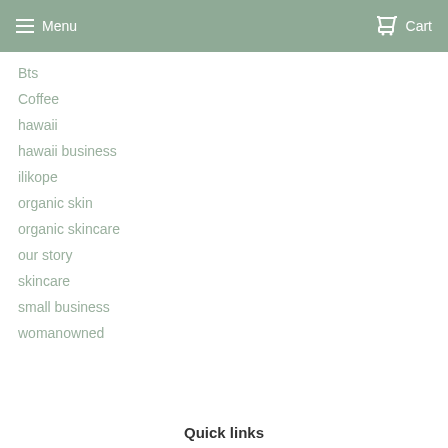Menu  Cart
Bts
Coffee
hawaii
hawaii business
ilikope
organic skin
organic skincare
our story
skincare
small business
womanowned
Quick links